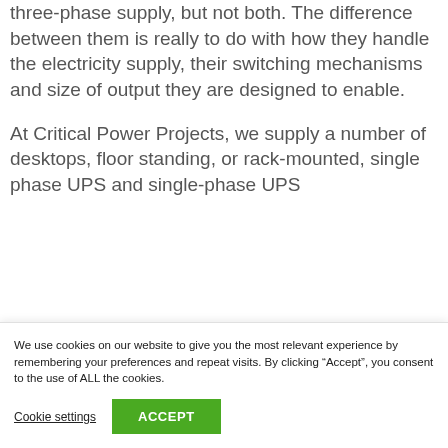three-phase supply, but not both. The difference between them is really to do with how they handle the electricity supply, their switching mechanisms and size of output they are designed to enable.
At Critical Power Projects, we supply a number of desktops, floor standing, or rack-mounted, single phase UPS and single-phase UPS
We use cookies on our website to give you the most relevant experience by remembering your preferences and repeat visits. By clicking “Accept”, you consent to the use of ALL the cookies.